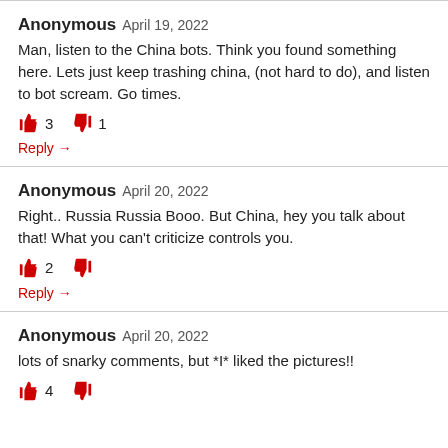Anonymous April 19, 2022
Man, listen to the China bots. Think you found something here. Lets just keep trashing china, (not hard to do), and listen to bot scream. Go times.
👍 3  👎 1
Reply →
Anonymous April 20, 2022
Right.. Russia Russia Booo. But China, hey you talk about that! What you can't criticize controls you.
👍 2  👎
Reply →
Anonymous April 20, 2022
lots of snarky comments, but *I* liked the pictures!!
👍 4  👎